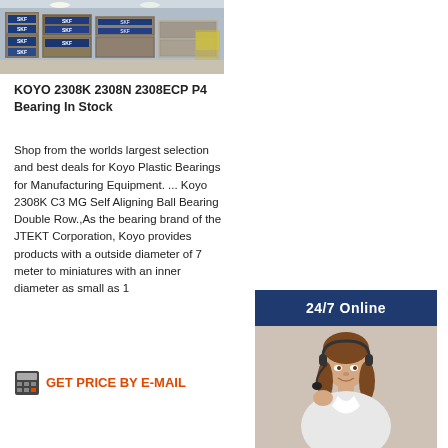[Figure (photo): Warehouse photo showing stacked SKF bearing boxes on shelves]
KOYO 2308K 2308N 2308ECP P4 Bearing In Stock
Shop from the worlds largest selection and best deals for Koyo Plastic Bearings for Manufacturing Equipment. ... Koyo 2308K C3 MG Self Aligning Ball Bearing Double Row.,As the bearing brand of the JTEKT Corporation, Koyo provides products with a outside diameter of 7 meter to miniatures with an inner diameter as small as 1
[Figure (infographic): 24/7 Online customer service banner with female agent wearing headset, 'Have any requests, click here.' text and Quotation button]
GET PRICE BY E-MAIL